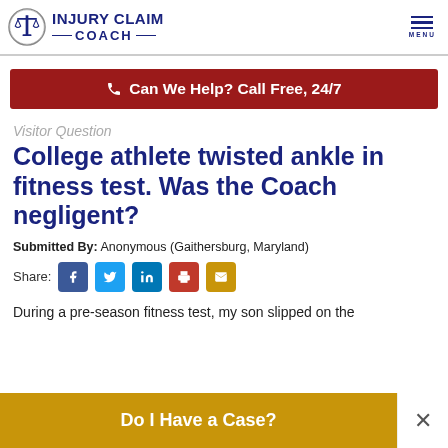INJURY CLAIM COACH
Can We Help? Call Free, 24/7
Visitor Question
College athlete twisted ankle in fitness test. Was the Coach negligent?
Submitted By: Anonymous (Gaithersburg, Maryland)
Share:
During a pre-season fitness test, my son slipped on the
Do I Have a Case?